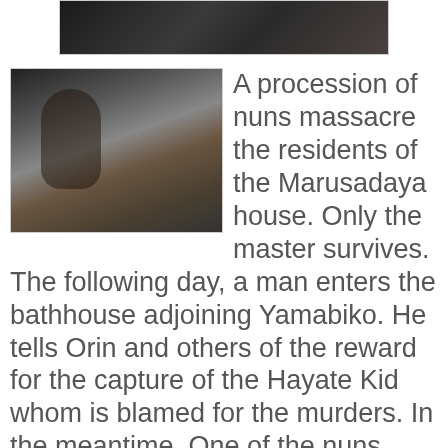[Figure (photo): Partial film still at top of page, dark/shadowy scene]
[Figure (photo): Film still showing three people: a woman in dark clothing on the left, a middle-aged man in the center holding something, and another person on the right]
A procession of nuns massacre the residents of the Marusadaya house. Only the master survives. The following day, a man enters the bathhouse adjoining Yamabiko. He tells Orin and others of the reward for the capture of the Hayate Kid whom is blamed for the murders. In the meantime, One of the nuns meets Shin and the young Shota in the street disappearing mysteriously after helping Shota bandage his knee.